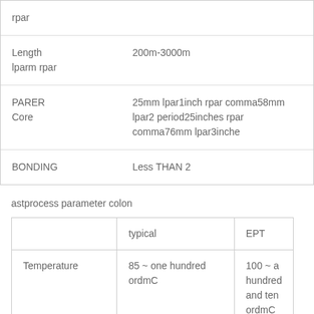|  |  |
| --- | --- |
| rpar |  |
| Length
lparm rpar | 200m-3000m |
| PARER Core | 25mm lpar1inch rpar comma58mm lpar2 period25inches rpar comma76mm lpar3inches rpar |
| BONDING | Less THAN 2 |
astprocess parameter colon
|  | typical | EPT |
| --- | --- | --- |
| Temperature | 85 ~ one hundred ordmC | 100 ~ a hundred and ten ordmC |
| Roll Strain | 8 ~ 15Mpa | sixteen ~ 25 Mpa |